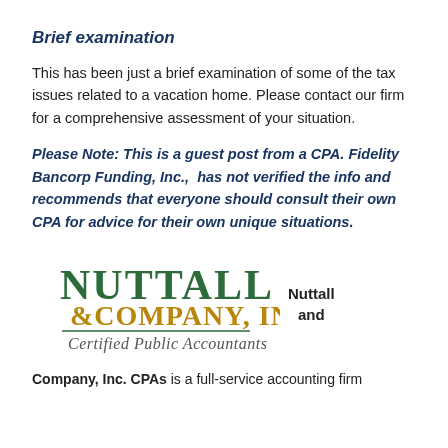Brief examination
This has been just a brief examination of some of the tax issues related to a vacation home. Please contact our firm for a comprehensive assessment of your situation.
Please Note: This is a guest post from a CPA. Fidelity Bancorp Funding, Inc.,  has not verified the info and recommends that everyone should consult their own CPA for advice for their own unique situations.
[Figure (logo): Nuttall & Company, Inc. Certified Public Accountants logo with green serif text]
Company, Inc. CPAs is a full-service accounting firm